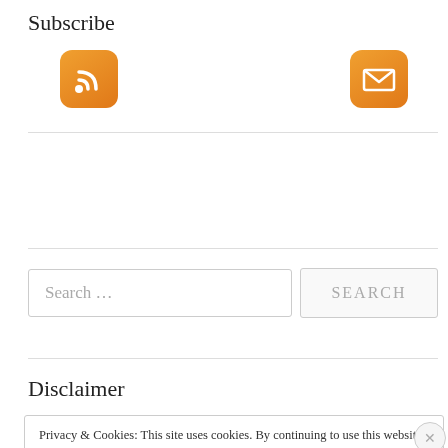Subscribe
[Figure (illustration): Two orange rounded square icons: RSS feed icon (left) and email/envelope icon (right)]
Search ...
Disclaimer
Privacy & Cookies: This site uses cookies. By continuing to use this website, you agree to their use.
To find out more, including how to control cookies, see here: Cookie Policy
Close and accept